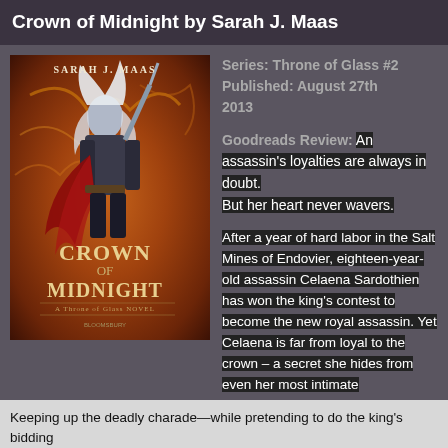Crown of Midnight by Sarah J. Maas
[Figure (illustration): Book cover of Crown of Midnight by Sarah J. Maas — A Throne of Glass Novel. Shows a female assassin with white hair holding a sword, wearing armor and a red cape, against a fiery orange background with the title text in large letters.]
Series: Throne of Glass #2
Published: August 27th 2013
Goodreads Review: An assassin's loyalties are always in doubt.
But her heart never wavers.
After a year of hard labor in the Salt Mines of Endovier, eighteen-year-old assassin Celaena Sardothien has won the king's contest to become the new royal assassin. Yet Celaena is far from loyal to the crown – a secret she hides from even her most intimate confidantes.
Keeping up the deadly charade—while pretending to do the king's bidding